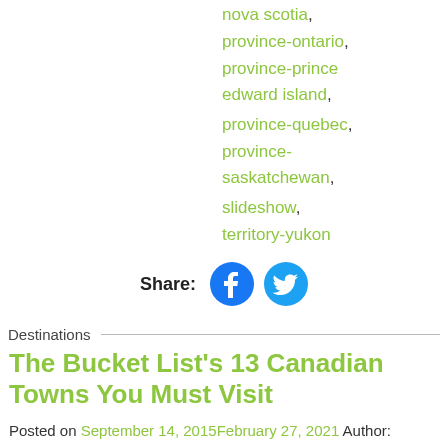nova scotia,
province-ontario,
province-prince edward island,
province-quebec,
province-saskatchewan,
slideshow,
territory-yukon
Share:
Destinations
The Bucket List’s 13 Canadian Towns You Must Visit
Posted on September 14, 2015February 27, 2021 Author: